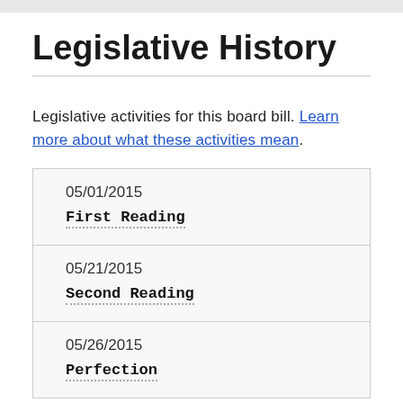Legislative History
Legislative activities for this board bill. Learn more about what these activities mean.
05/01/2015
First Reading
05/21/2015
Second Reading
05/26/2015
Perfection